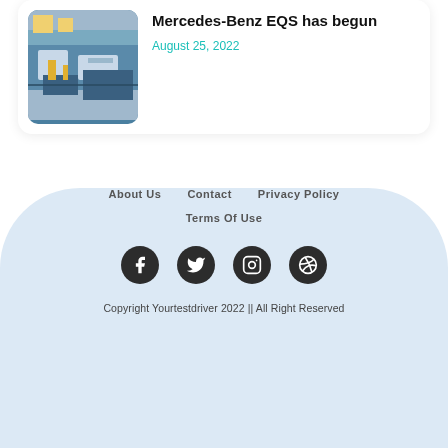[Figure (photo): Photo of a car manufacturing facility/assembly line showing industrial machinery and blue equipment]
Mercedes-Benz EQS has begun
August 25, 2022
About Us   Contact   Privacy Policy
Terms Of Use
[Figure (other): Social media icons: Facebook, Twitter, Instagram, Dribbble]
Copyright Yourtestdriver 2022 || All Right Reserved